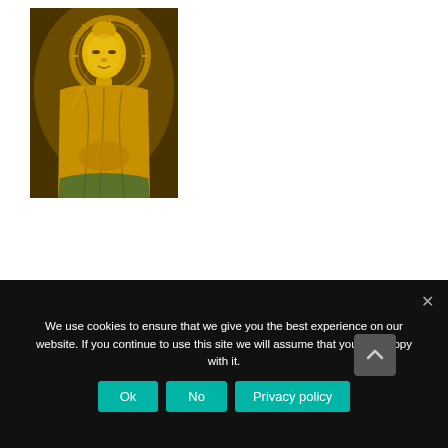[Figure (photo): A golden Buddha statue photographed close-up, showing detailed gold surface with ornate decorative elements and a halo behind the head]
We use cookies to ensure that we give you the best experience on our website. If you continue to use this site we will assume that you are happy with it.